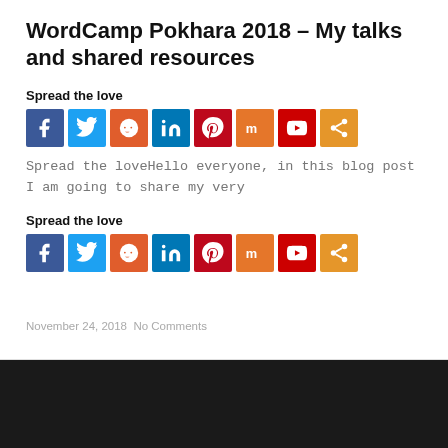WordCamp Pokhara 2018 – My talks and shared resources
Spread the love
[Figure (infographic): Row of 8 social media share buttons: Facebook (blue), Twitter (light blue), Reddit (orange), LinkedIn (dark blue), Pinterest (dark red), Mix (orange), YouTube (red), Share (orange)]
Spread the loveHello everyone, in this blog post I am going to share my very
Spread the love
[Figure (infographic): Row of 8 social media share buttons: Facebook (blue), Twitter (light blue), Reddit (orange), LinkedIn (dark blue), Pinterest (dark red), Mix (orange), YouTube (red), Share (orange)]
November 24, 2018  No Comments